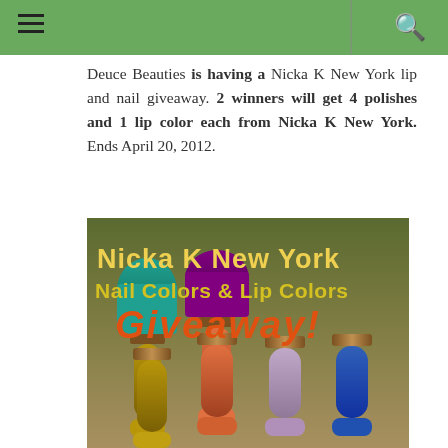Deuce Beauties is having a Nicka K New York lip and nail giveaway. 2 winners will get 4 polishes and 1 lip color each from Nicka K New York. Ends April 20, 2012.
[Figure (photo): Promotional image for Nicka K New York Nail Colors & Lip Colors Giveaway, showing several nail polish bottles in gold, orange, lavender, and blue colors with text overlay reading 'Nicka K New York Nail Colors & Lip Colors Giveaway!' in yellow and orange text.]